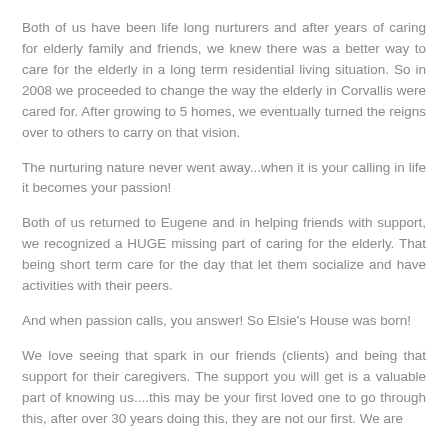Both of us have been life long nurturers and after years of caring for elderly family and friends, we knew there was a better way to care for the elderly in a long term residential living situation. So in 2008 we proceeded to change the way the elderly in Corvallis were cared for. After growing to 5 homes, we eventually turned the reigns over to others to carry on that vision.
The nurturing nature never went away...when it is your calling in life it becomes your passion!
Both of us returned to Eugene and in helping friends with support, we recognized a HUGE missing part of caring for the elderly. That being short term care for the day that let them socialize and have activities with their peers.
And when passion calls, you answer! So Elsie's House was born!
We love seeing that spark in our friends (clients) and being that support for their caregivers. The support you will get is a valuable part of knowing us....this may be your first loved one to go through this, after over 30 years doing this, they are not our first. We are